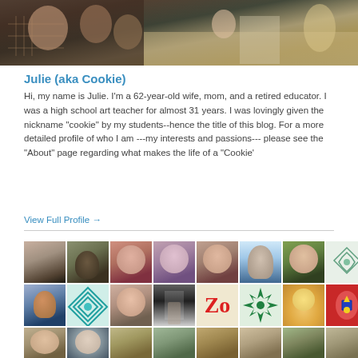[Figure (photo): Banner photo showing people at a table/gathering, cropped at top]
Julie (aka Cookie)
Hi, my name is Julie. I'm a 62-year-old wife, mom, and a retired educator. I was a high school art teacher for almost 31 years. I was lovingly given the nickname "cookie" by my students--hence the title of this blog. For a more detailed profile of who I am ---my interests and passions--- please see the "About" page regarding what makes the life of a "Cookie'
View Full Profile →
[Figure (photo): Grid of avatar/profile photos of various bloggers/followers, arranged in rows]